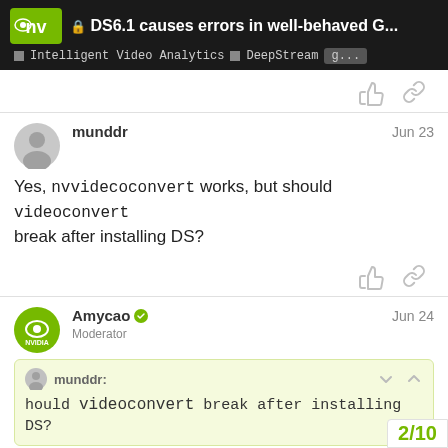DS6.1 causes errors in well-behaved G... | Intelligent Video Analytics | DeepStream | g...
munddr
Jun 23
Yes, nvvidecoconvert works, but should videoconvert break after installing DS?
Amycao Moderator
Jun 24
munddr:
hould videoconvert break after installing DS?